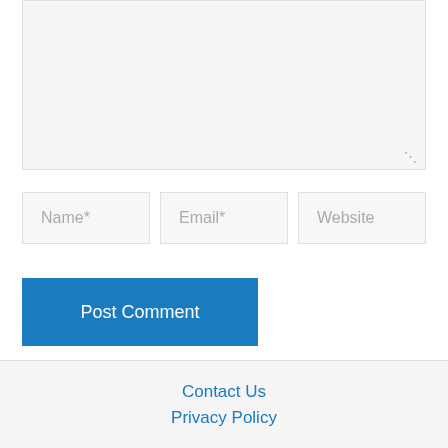[Figure (screenshot): A comment form textarea (large empty input box with resize handle at bottom-right)]
Name*
Email*
Website
Post Comment
Contact Us
Privacy Policy